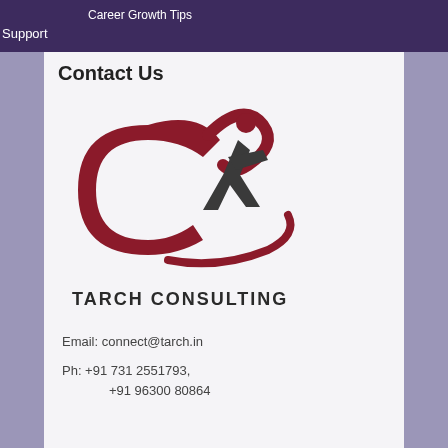Career Growth Tips
Support
Contact Us
[Figure (logo): Tarch Consulting logo: red arc/swirl with dark figure, text TARCH CONSULTING below]
Email: connect@tarch.in
Ph: +91 731 2551793,
+91 96300 80864
Home   Blog   Contact
© Copyright 2013 - Tarch Consulting Design by LassoART Designs